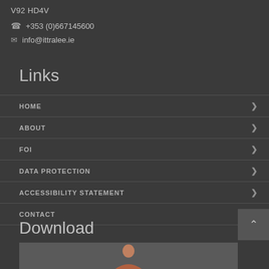V92 HD4V
+353 (0)667145600
info@ittralee.ie
Links
HOME
ABOUT
FOI
DATA PROTECTION
ACCESSIBILITY STATEMENT
CONTACT
Download
[Figure (photo): Bottom image strip showing a person silhouette]